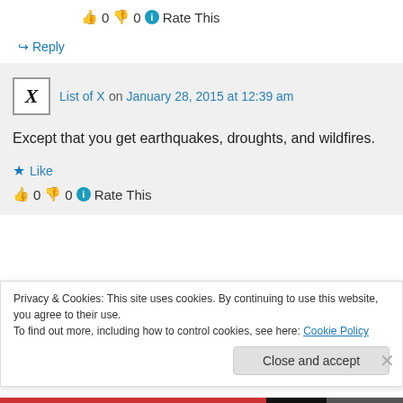👍 0 👎 0 ℹ Rate This
↪ Reply
List of X on January 28, 2015 at 12:39 am
Except that you get earthquakes, droughts, and wildfires.
★ Like
👍 0 👎 0 ℹ Rate This
Privacy & Cookies: This site uses cookies. By continuing to use this website, you agree to their use.
To find out more, including how to control cookies, see here: Cookie Policy
Close and accept